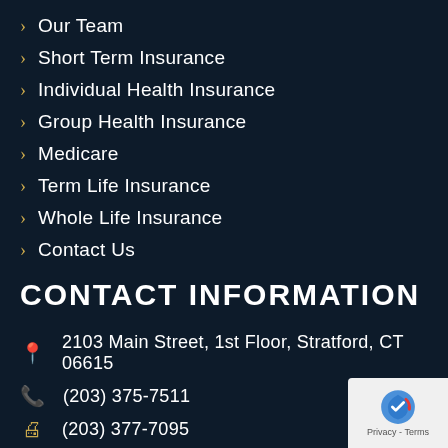Our Team
Short Term Insurance
Individual Health Insurance
Group Health Insurance
Medicare
Term Life Insurance
Whole Life Insurance
Contact Us
CONTACT INFORMATION
2103 Main Street, 1st Floor, Stratford, CT 06615
(203) 375-7511
(203) 377-7095